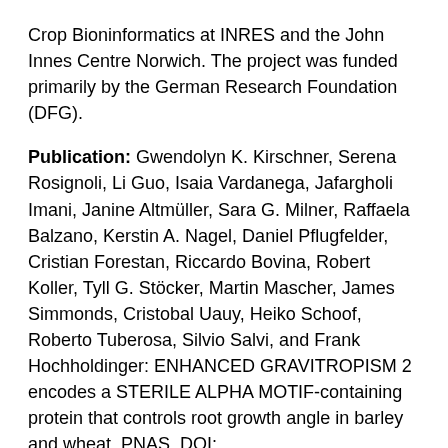Crop Bioninformatics at INRES and the John Innes Centre Norwich. The project was funded primarily by the German Research Foundation (DFG).
Publication: Gwendolyn K. Kirschner, Serena Rosignoli, Li Guo, Isaia Vardanega, Jafargholi Imani, Janine Altmüller, Sara G. Milner, Raffaela Balzano, Kerstin A. Nagel, Daniel Pflugfelder, Cristian Forestan, Riccardo Bovina, Robert Koller, Tyll G. Stöcker, Martin Mascher, James Simmonds, Cristobal Uauy, Heiko Schoof, Roberto Tuberosa, Silvio Salvi, and Frank Hochholdinger: ENHANCED GRAVITROPISM 2 encodes a STERILE ALPHA MOTIF-containing protein that controls root growth angle in barley and wheat, PNAS, DOI: 10.1073/pnas.2101526118